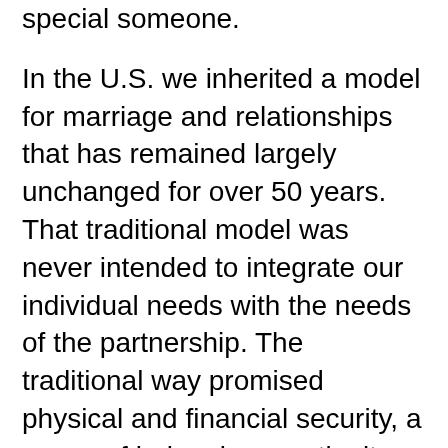special someone.
In the U.S. we inherited a model for marriage and relationships that has remained largely unchanged for over 50 years. That traditional model was never intended to integrate our individual needs with the needs of the partnership. The traditional way promised physical and financial security, a sense of belonging, continuity and comfort. The old model has been deeply ingrained in all of us by watching our parents and grandparents.
The old rules don't work anymore! We cannot continue to depend on traditional, deeply ingrained beliefs, expectations and assumptions about relationships.